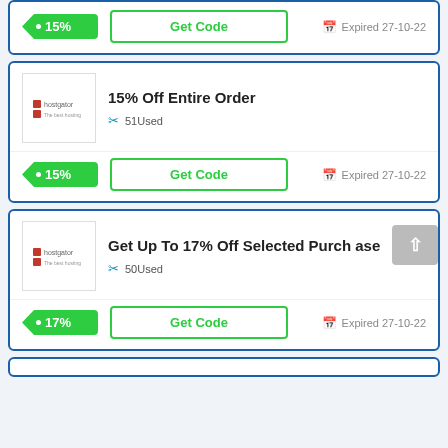[Figure (other): Partial coupon card top showing 15% badge, Get Code button, and Expired 27-10-22]
[Figure (other): Coupon card: 15% Off Entire Order, 51 Used, Get Code button, Expired 27-10-22]
[Figure (other): Coupon card: Get Up To 17% Off Selected Purchase, 50 Used, Get Code button, Expired 27-10-22]
[Figure (other): Partial coupon card at bottom]